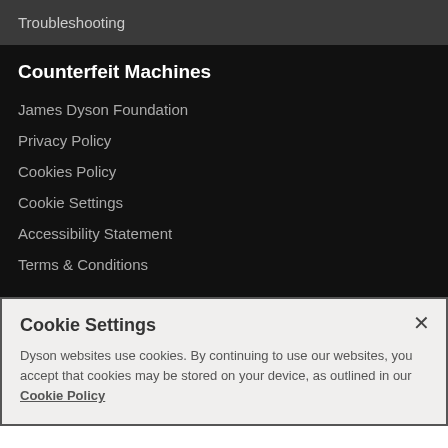Troubleshooting
Counterfeit Machines
James Dyson Foundation
Privacy Policy
Cookies Policy
Cookie Settings
Accessibility Statement
Terms & Conditions
Cookie Settings
Dyson websites use cookies. By continuing to use our websites, you accept that cookies may be stored on your device, as outlined in our Cookie Policy